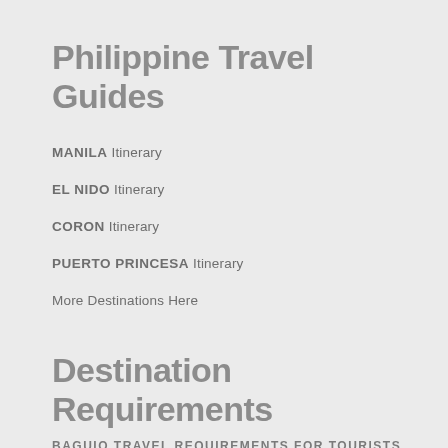Philippine Travel Guides
MANILA Itinerary
EL NIDO Itinerary
CORON Itinerary
PUERTO PRINCESA Itinerary
More Destinations Here
Destination Requirements
BAGUIO TRAVEL REQUIREMENTS for TOURISTS